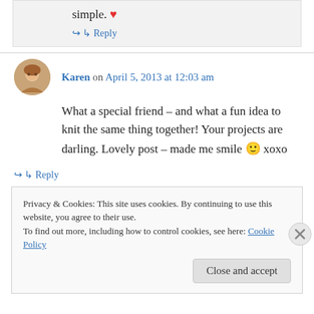simple. ❤
↪ Reply
Karen on April 5, 2013 at 12:03 am
What a special friend – and what a fun idea to knit the same thing together! Your projects are darling. Lovely post – made me smile 🙂 xoxo
↪ Reply
Privacy & Cookies: This site uses cookies. By continuing to use this website, you agree to their use. To find out more, including how to control cookies, see here: Cookie Policy
Close and accept